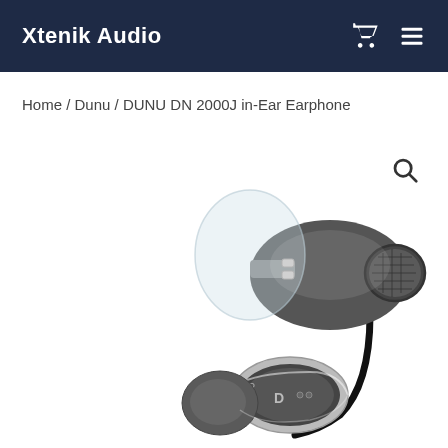Xtenik Audio
Home / Dunu / DUNU DN 2000J in-Ear Earphone
[Figure (photo): Product photo of DUNU DN 2000J in-ear earphones showing two earphone units — one angled upward displaying the clear ear tip and metallic housing, and one at the bottom showing the right earpiece with chrome ring and D logo, connected by a black cable. The earphones are silver/gunmetal colored with a mesh grille.]